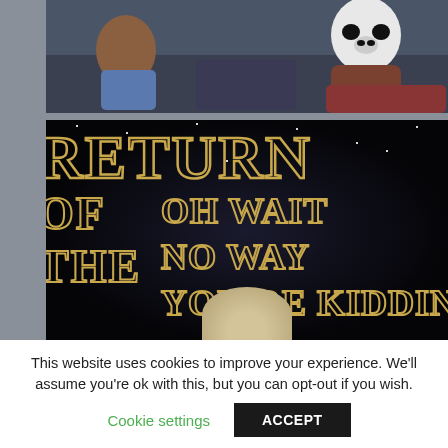[Figure (photo): Top meme image showing people sitting on a couch with a panda photoshopped in, in a dimly lit room scene]
[Figure (photo): Star Wars style meme image with black starry background showing 'RETURN' in large golden outlined letters at top, 'OF THE' on the left, and 'OH WAIT NO WAY YOU'RE KIDDING' in golden text on the right, with a person's head visible at the bottom]
This website uses cookies to improve your experience. We'll assume you're ok with this, but you can opt-out if you wish.
Cookie settings
ACCEPT